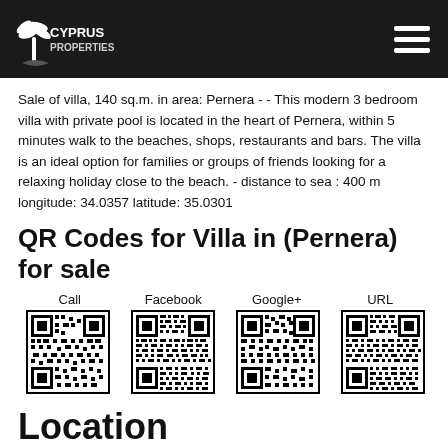Cyprus Properties
Sale of villa, 140 sq.m. in area: Pernera - - This modern 3 bedroom villa with private pool is located in the heart of Pernera, within 5 minutes walk to the beaches, shops, restaurants and bars. The villa is an ideal option for families or groups of friends looking for a relaxing holiday close to the beach. - distance to sea : 400 m longitude: 34.0357 latitude: 35.0301
QR Codes for Villa in (Pernera) for sale
[Figure (other): Four QR codes labeled Call, Facebook, Google+, URL for a villa listing in Pernera]
Location